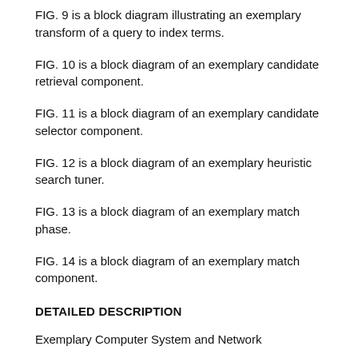FIG. 9 is a block diagram illustrating an exemplary transform of a query to index terms.
FIG. 10 is a block diagram of an exemplary candidate retrieval component.
FIG. 11 is a block diagram of an exemplary candidate selector component.
FIG. 12 is a block diagram of an exemplary heuristic search tuner.
FIG. 13 is a block diagram of an exemplary match phase.
FIG. 14 is a block diagram of an exemplary match component.
DETAILED DESCRIPTION
Exemplary Computer System and Network
The block diagram shown in FIG. 1 illustrates an exemplary computer system. A computer 100 includes a central processing unit (CPU) 102, a system memory 104, and input/output (I/O) ports 106.